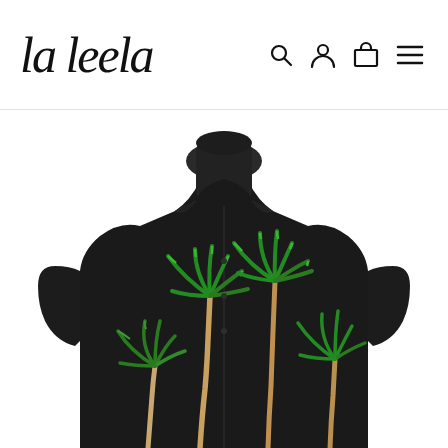la leela [search] [account] [cart] [menu]
[Figure (photo): Black Hawaiian shirt with green palm tree print displayed on a headless dark mannequin. The shirt is short-sleeved with an open collar and features multiple green palm trees printed along the bottom hem area against a solid black fabric background.]